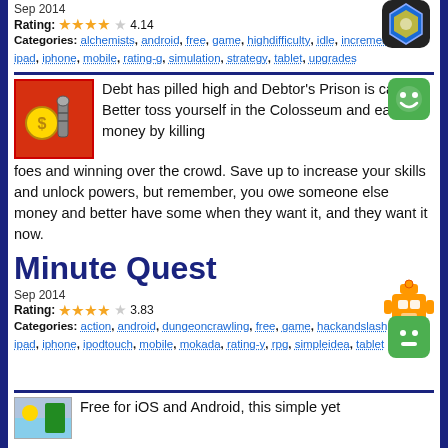Sep 2014
Rating: ★★★★☆ 4.14
Categories: alchemists, android, free, game, highdifficulty, idle, incremental, ios, ipad, iphone, mobile, rating-g, simulation, strategy, tablet, upgrades
Debt has pilled high and Debtor's Prison is calling. Better toss yourself in the Colosseum and earn money by killing foes and winning over the crowd. Save up to increase your skills and unlock powers, but remember, you owe someone else money and better have some when they want it, and they want it now.
Minute Quest
Sep 2014
Rating: ★★★★☆ 3.83
Categories: action, android, dungeoncrawling, free, game, hackandslash, ios, ipad, iphone, ipodtouch, mobile, mokada, rating-y, rpg, simpleidea, tablet
Free for iOS and Android, this simple yet